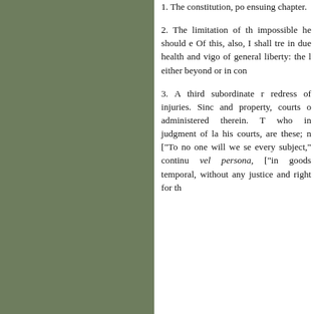[Figure (other): Solid olive/sage green rectangle occupying the left portion of the page]
1. The constitution, po ensuing chapter.

2. The limitation of th impossible he should e Of this, also, I shall tre in due health and vigo of general liberty: the l either beyond or in con

3. A third subordinate r redress of injuries. Sinc and property, courts o administered therein. T who in judgment of la his courts, are these; n ["To no one will we se every subject," continu vel persona, ["in goods temporal, without any justice and right for th